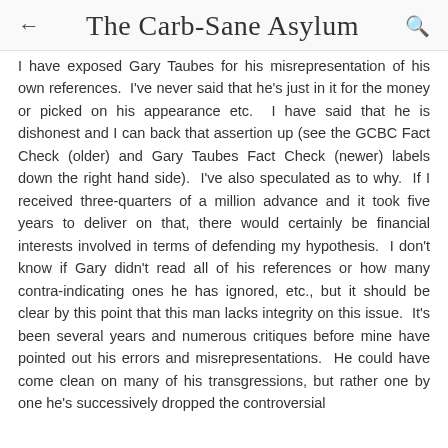The Carb-Sane Asylum
I have exposed Gary Taubes for his misrepresentation of his own references.  I've never said that he's just in it for the money or picked on his appearance etc.  I have said that he is dishonest and I can back that assertion up (see the GCBC Fact Check (older) and Gary Taubes Fact Check (newer) labels down the right hand side).  I've also speculated as to why.  If I received three-quarters of a million advance and it took five years to deliver on that, there would certainly be financial interests involved in terms of defending my hypothesis.  I don't know if Gary didn't read all of his references or how many contra-indicating ones he has ignored, etc., but it should be clear by this point that this man lacks integrity on this issue.  It's been several years and numerous critiques before mine have pointed out his errors and misrepresentations.  He could have come clean on many of his transgressions, but rather one by one he's successively dropped the controversial